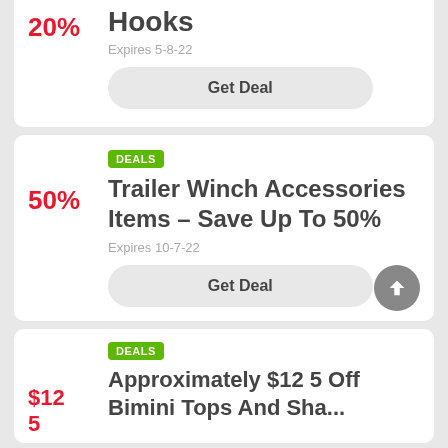20%
Hooks
Expires 5-8-22
Get Deal
DEALS
50%
Trailer Winch Accessories Items - Save Up To 50%
Expires 10-7-22
Get Deal
DEALS
Approximately $12 5 Off Bimini Tops And Sha...